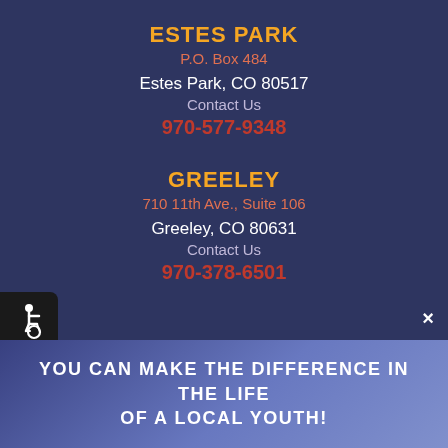ESTES PARK
P.O. Box 484
Estes Park, CO 80517
Contact Us
970-577-9348
GREELEY
710 11th Ave., Suite 106
Greeley, CO 80631
Contact Us
970-378-6501
[Figure (illustration): Accessibility wheelchair icon in black rounded rectangle]
×
YOU CAN MAKE THE DIFFERENCE IN THE LIFE OF A LOCAL YOUTH!